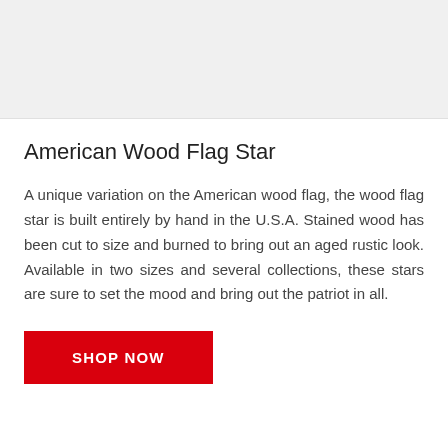[Figure (photo): Gray placeholder image area at the top of the page]
American Wood Flag Star
A unique variation on the American wood flag, the wood flag star is built entirely by hand in the U.S.A. Stained wood has been cut to size and burned to bring out an aged rustic look. Available in two sizes and several collections, these stars are sure to set the mood and bring out the patriot in all.
SHOP NOW